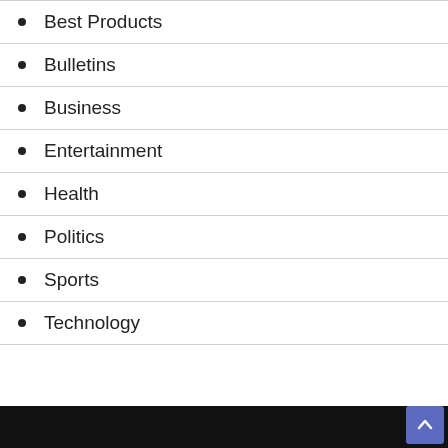Best Products
Bulletins
Business
Entertainment
Health
Politics
Sports
Technology